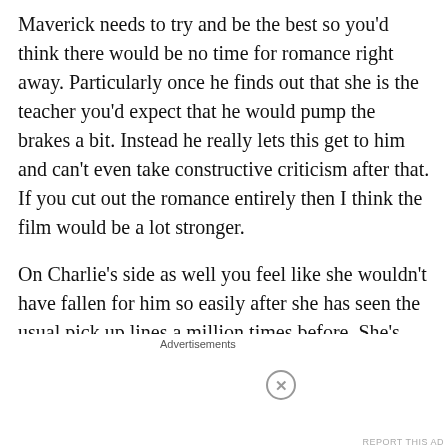Maverick needs to try and be the best so you'd think there would be no time for romance right away. Particularly once he finds out that she is the teacher you'd expect that he would pump the brakes a bit. Instead he really lets this get to him and can't even take constructive criticism after that. If you cut out the romance entirely then I think the film would be a lot stronger.
On Charlie's side as well you feel like she wouldn't have fallen for him so easily after she has seen the usual pick up lines a million times before. She's here on a very serious job to train these pilots so there's no time for distractions like that. It also wouldn't really change the film much at all if you cut out the romance so it always begs
[Figure (infographic): Advertisement banner for Macy's: 'KISS BORING LIPS GOODBYE' with a woman's face featuring red lips, a 'SHOP NOW' button, and Macy's logo with red star.]